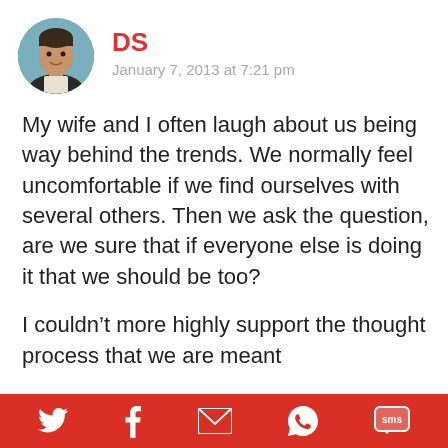[Figure (photo): Circular avatar photo of a man smiling, in outdoor setting]
DS
January 7, 2013 at 7:21 pm
My wife and I often laugh about us being way behind the trends.  We normally feel uncomfortable if we find ourselves with several others.  Then we ask the question, are we sure that if everyone else is doing it that we should be too?
I couldn’t more highly support the thought process that we are meant
Twitter | Facebook | Email | WhatsApp | SMS